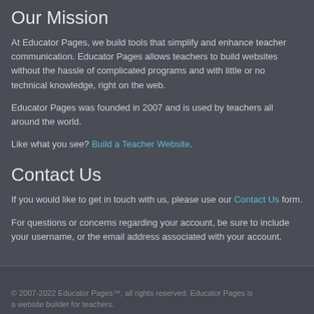Our Mission
At Educator Pages, we build tools that simplify and enhance teacher communication. Educator Pages allows teachers to build websites without the hassle of complicated programs and with little or no technical knowledge, right on the web.
Educator Pages was founded in 2007 and is used by teachers all around the world.
Like what you see? Build a Teacher Website.
Contact Us
If you would like to get in touch with us, please use our Contact Us form.
For questions or concerns regarding your account, be sure to include your username, or the email address associated with your account.
© 2007-2022 Educator Pages™, all rights reserved. Educator Pages is a website builder for teachers.